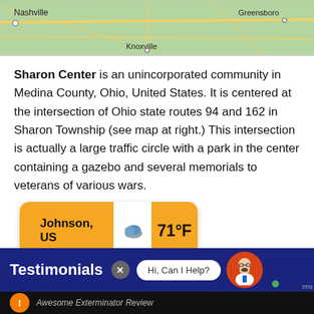[Figure (map): Map strip showing Nashville, Knoxville, and Greensboro with road network on green background]
Sharon Center is an unincorporated community in Medina County, Ohio, United States. It is centered at the intersection of Ohio state routes 94 and 162 in Sharon Township (see map at right.) This intersection is actually a large traffic circle with a park in the center containing a gazebo and several memorials to veterans of various wars.
[Figure (screenshot): OpenWeather widget showing Johnson, US weather at 71°F with partly cloudy icon]
[Figure (screenshot): Testimonials banner with chat bubble saying Hi, Can I Help? and avatar]